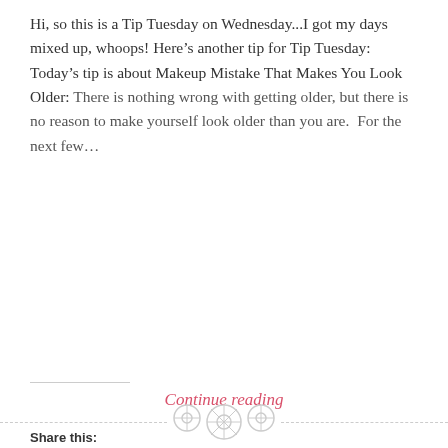Hi, so this is a Tip Tuesday on Wednesday...I got my days mixed up, whoops! Here's another tip for Tip Tuesday: Today's tip is about Makeup Mistake That Makes You Look Older: There is nothing wrong with getting older, but there is no reason to make yourself look older than you are.  For the next few...
Continue reading
Share this:
[Figure (screenshot): Social share buttons: Tweet (Twitter), Share 0 (Facebook), Save (Pinterest), Post (Tumblr)]
Like this:
[Figure (screenshot): Like button and 12 blogger avatars]
12 bloggers like this.
[Figure (other): Three circular button/decorative icons along a dashed horizontal line at the bottom of the page]